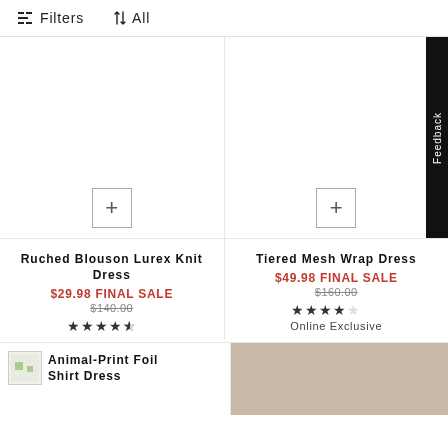Filters  ↑↓ All
[Figure (photo): Product image area for Ruched Blouson Lurex Knit Dress with a + (add to bag) button]
Ruched Blouson Lurex Knit Dress
$29.98 FINAL SALE
$140.00 (strikethrough)
★★★★½ (star rating)
[Figure (photo): Product image area for Tiered Mesh Wrap Dress with a + (add to bag) button]
Tiered Mesh Wrap Dress
$49.98 FINAL SALE
$160.00 (strikethrough)
★★★★☆ (star rating)
Online Exclusive
[Figure (photo): Small thumbnail image next to Animal-Print Foil Shirt Dress product name]
Animal-Print Foil Shirt Dress
[Figure (photo): Partial product photo on bottom right showing a model]